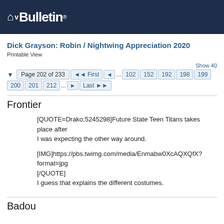vBulletin
Dick Grayson: Robin / Nightwing Appreciation 2020
Printable View
Show 40  ▼ Page 202 of 233  ◄◄ First  ◄  ... 102 152 192 198 199 200 201 212 ...  ►  Last ►►
Frontier
[QUOTE=Drako;5245298]Future State Teen Titans takes place after I was expecting the other way around.

[IMG]https://pbs.twimg.com/media/Enmabw0XcAQXQfX?format=jpg
[/QUOTE]
I guess that explains the different costumes.
Badou